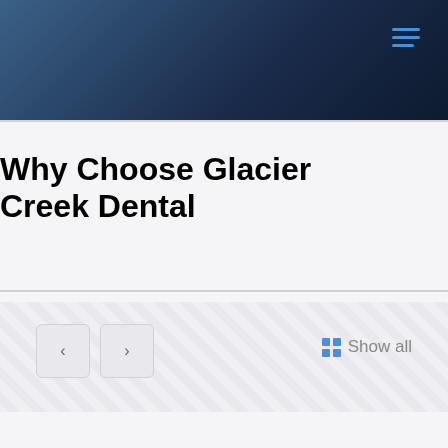Why Choose Glacier Creek Dental
[Figure (screenshot): Carousel navigation section with previous and next arrow buttons and a 'Show all' link with grid icon, on a diagonal stripe background]
Show all